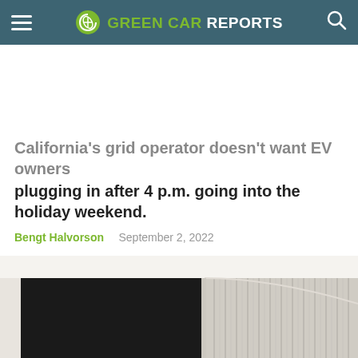GREEN CAR REPORTS
California's grid operator doesn't want EV owners plugging in after 4 p.m. going into the holiday weekend.
Bengt Halvorson   September 2, 2022
[Figure (photo): Partial view of a modern building interior with a dark doorway on the left and vertical ribbed panels on the right, in beige/grey tones.]